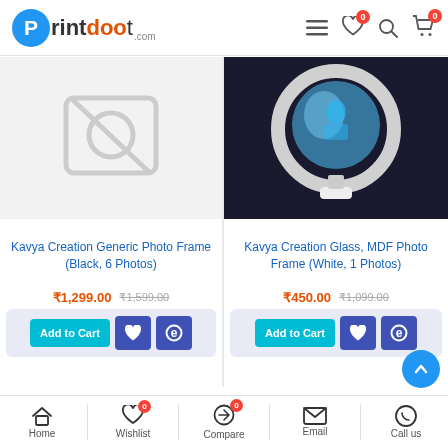Printdoot.com
[Figure (screenshot): Placeholder image for Kavya Creation Generic Photo Frame (Black, 6 Photos) — grey camera icon placeholder]
Kavya Creation Generic Photo Frame  (Black, 6 Photos)
₹1,299.00  ₹1,599.00
Add to Cart
[Figure (photo): Kavya Creation Glass, MDF Photo Frame (White, 1 Photos) — circular mirror/globe frame on dark background]
Kavya Creation Glass, MDF Photo Frame  (White, 1 Photos)
₹450.00  ₹1,099.00
Add to Cart
Filter Products
Home  Wishlist  Compare  Email  Call us